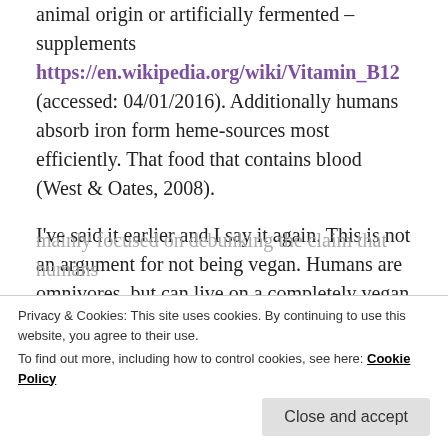animal origin or artificially fermented – supplements https://en.wikipedia.org/wiki/Vitamin_B12 (accessed: 04/01/2016). Additionally humans absorb iron form heme-sources most efficiently. That food that contains blood (West & Oates, 2008).
I've said it earlier and I say it again. This is not an argument for not being vegan. Humans are omnivores, but can live on a completely vegan diet with the supplementation of B 12 from fermentation. I think that trying to claim that humans are
mainly focused on debunking the claim that humans
Privacy & Cookies: This site uses cookies. By continuing to use this website, you agree to their use. To find out more, including how to control cookies, see here: Cookie Policy